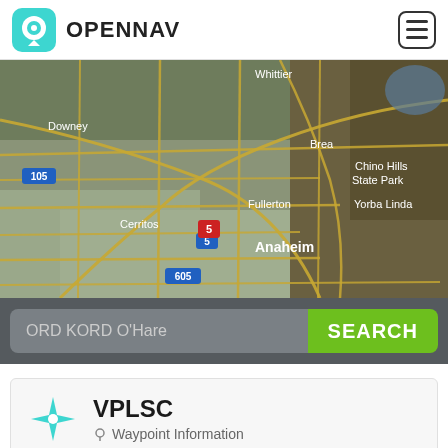OPENNAV
[Figure (map): Aerial satellite map showing the Los Angeles/Orange County area in California, including cities: Whittier, Downey, Brea, Chino Hills State Park, Yorba Linda, Fullerton, Cerritos, Anaheim, and highway markers 105, 5, 605.]
ORD KORD O'Hare
SEARCH
VPLSC
Waypoint Information